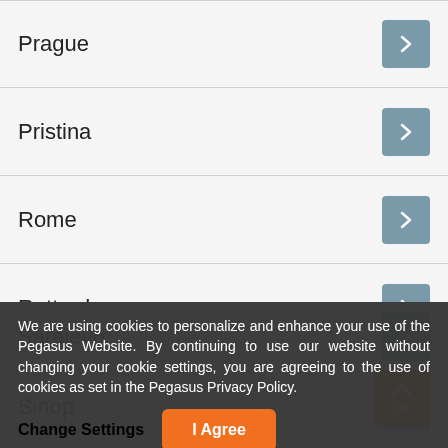Prague
Pristina
Rome
Rotterdam
Sharm El-Sheikh
Samsun
Sarajevo
Sinop
Sivas
Stockholm
We are using cookies to personalize and enhance your use of the Pegasus Website. By continuing to use our website without changing your cookie settings, you are agreeing to the use of cookies as set in the Pegasus Privacy Policy.
Change Settings
I Agree